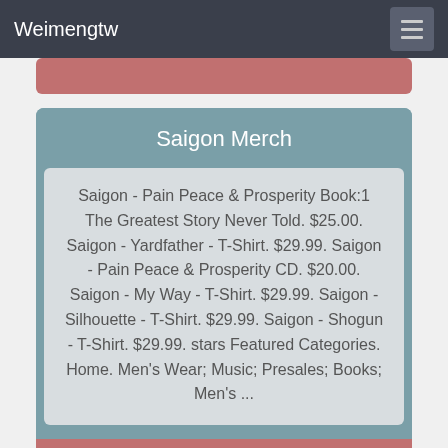Weimengtw
Saigon Merch
Saigon - Pain Peace & Prosperity Book:1 The Greatest Story Never Told. $25.00. Saigon - Yardfather - T-Shirt. $29.99. Saigon - Pain Peace & Prosperity CD. $20.00. Saigon - My Way - T-Shirt. $29.99. Saigon - Silhouette - T-Shirt. $29.99. Saigon - Shogun - T-Shirt. $29.99. stars Featured Categories. Home. Men's Wear; Music; Presales; Books; Men's ...
VIEW